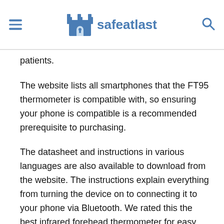safeatlast
patients.
The website lists all smartphones that the FT95 thermometer is compatible with, so ensuring your phone is compatible is a recommended prerequisite to purchasing.
The datasheet and instructions in various languages are also available to download from the website. The instructions explain everything from turning the device on to connecting it to your phone via Bluetooth. We rated this the best infrared forehead thermometer for easy data collection and